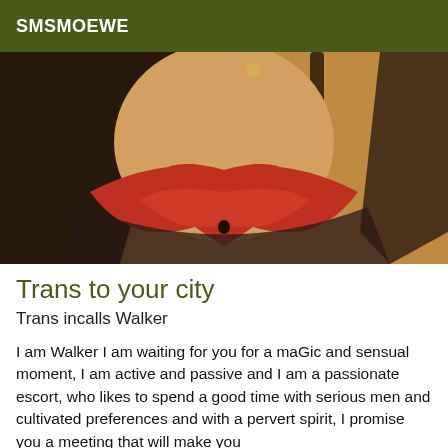SMSMOEWE
[Figure (photo): Close-up photo of a person wearing a red bra, shot from above showing chest/back area with dark hair visible on left side]
Trans to your city
Trans incalls Walker
I am Walker I am waiting for you for a maGic and sensual moment, I am active and passive and I am a passionate escort, who likes to spend a good time with serious men and cultivated preferences and with a pervert spirit, I promise you a meeting that will make you